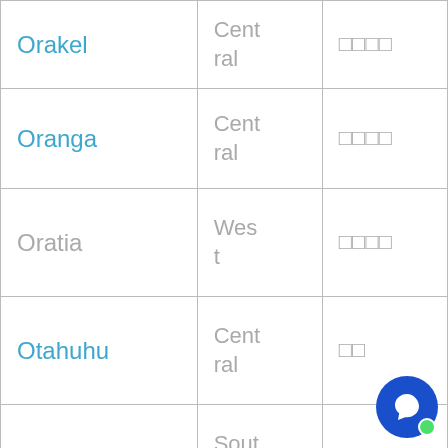| Orakel | Central | □□□□ |
| Oranga | Central | □□□□ |
| Oratia | West | □□□□ |
| Otahuhu | Central | □□ |
| Otara | South | □□ |